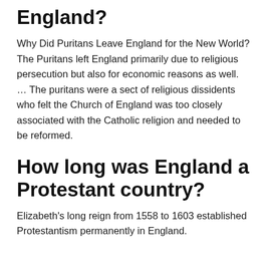England?
Why Did Puritans Leave England for the New World? The Puritans left England primarily due to religious persecution but also for economic reasons as well. … The puritans were a sect of religious dissidents who felt the Church of England was too closely associated with the Catholic religion and needed to be reformed.
How long was England a Protestant country?
Elizabeth's long reign from 1558 to 1603 established Protestantism permanently in England.